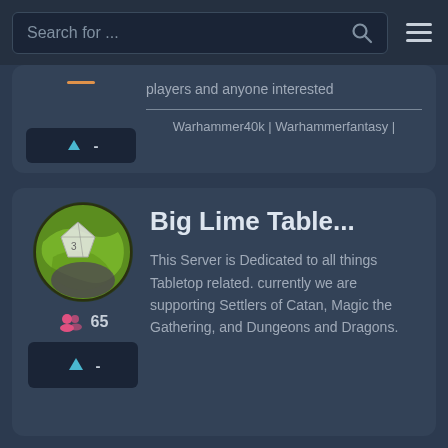[Figure (screenshot): Search bar with placeholder text 'Search for ...' and a search icon, and a hamburger menu icon on the right]
players and anyone interested
Warhammer40k | Warhammerfantasy |
Big Lime Table...
This Server is Dedicated to all things Tabletop related. currently we are supporting Settlers of Catan, Magic the Gathering, and Dungeons and Dragons.
65